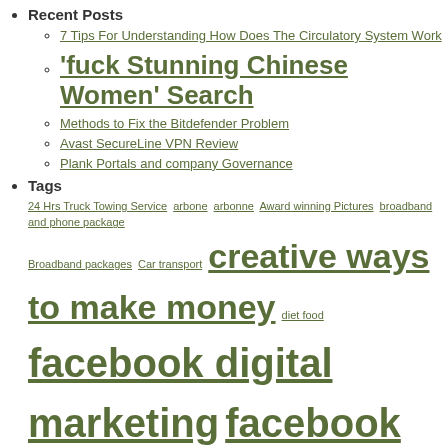Recent Posts
7 Tips For Understanding How Does The Circulatory System Work
‘fuck Stunning Chinese Women’ Search
Methods to Fix the Bitdefender Problem
Avast SecureLine VPN Review
Plank Portals and company Governance
Tags
24 Hrs Truck Towing Service arbone arbonne Award winning Pictures broadband and phone package Broadband packages Car transport creative ways to make money diet food facebook digital marketing facebook marketing course facebook marketing for beginners facebook marketing strategy 2020 facebook marketing strategy pdf facebook